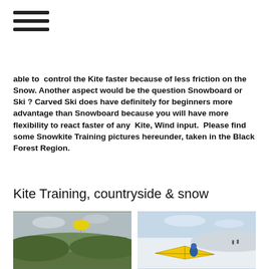≡ (hamburger menu)
able to control the Kite faster because of less friction on the Snow. Another aspect would be the question Snowboard or Ski ? Carved Ski does have definitely for beginners more advantage than Snowboard because you will have more flexibility to react faster of any Kite, Wind input. Please find some Snowkite Training pictures hereunder, taken in the Black Forest Region.
Kite Training, countryside & snow
[Figure (photo): Countryside landscape with a yellow kite in the sky above green hills]
[Figure (photo): Snow scene with a person in blue jacket handling a yellow kite on the ground, snowy landscape with hills in background]